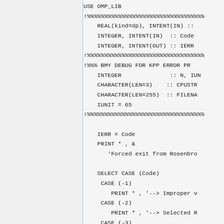USE OMP_LIB
!%%%%%%%%%%%%%%%%%%%%%%%%%%%
    REAL(kind=dp), INTENT(IN) ::
    INTEGER, INTENT(IN)  :: Code
    INTEGER, INTENT(OUT) :: IERR
!%%%%%%%%%%%%%%%%%%%%%%%%%%%
!%%% BMY DEBUG FOR KPP ERROR PR
    INTEGER              :: N, IUN
    CHARACTER(LEN=3)    :: CPUSTR
    CHARACTER(LEN=255)  :: FILENA
    IUNIT = 65
!%%%%%%%%%%%%%%%%%%%%%%%%%%%

    IERR = Code
    PRINT * , &
       'Forced exit from Rosenbro

    SELECT CASE (Code)
     CASE (-1)
        PRINT * , '--> Improper v
     CASE (-2)
        PRINT * , '--> Selected R
     CASE (-3)
        PRINT * , '--> Hmin/Hmax/